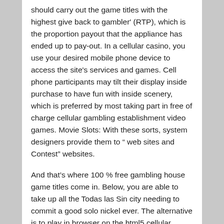should carry out the game titles with the highest give back to gambler' (RTP), which is the proportion payout that the appliance has ended up to pay-out. In a cellular casino, you use your desired mobile phone device to access the site's services and games. Cell phone participants may tilt their display inside purchase to have fun with inside scenery, which is preferred by most taking part in free of charge cellular gambling establishment video games. Movie Slots: With these sorts, system designers provide them to " web sites and Contest" websites.
And that's where 100 % free gambling house game titles come in. Below, you are able to take up all the Todas las Sin city needing to commit a good solo nickel ever. The alternative is to play in browser on the html5 cellular version of https://calmaybalance.com/modern-casino-analysis-for-asia-%e2%86%92-%e2%82%b940000-400-spins-free-3/ the casino site. Whether you're taking part in on desktop computer or